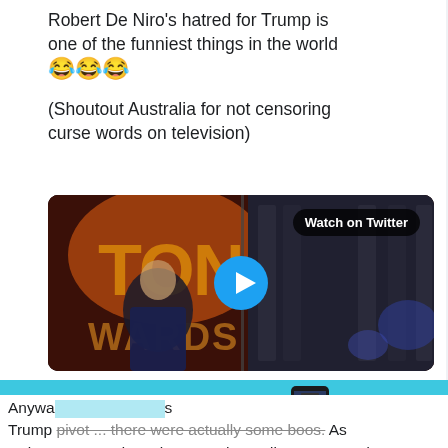Robert De Niro's hatred for Trump is one of the funniest things in the world 😂😂😂
(Shoutout Australia for not censoring curse words on television)
[Figure (screenshot): Video thumbnail showing Robert De Niro at what appears to be the Tony Awards stage. A 'Watch on Twitter' badge is visible in the top right, and a blue play button is centered on the image.]
[Figure (infographic): TMZ advertisement banner in cyan/teal color. Shows TMZ logo in red, 'CLICK HERE! FOLLOW US ON' text in red boxes, Twitter logo and bird icon, and a smartphone image.]
Anywa... Trump pivot ... there were actually some boos. As Rob went on and on about DT, the audience seemed